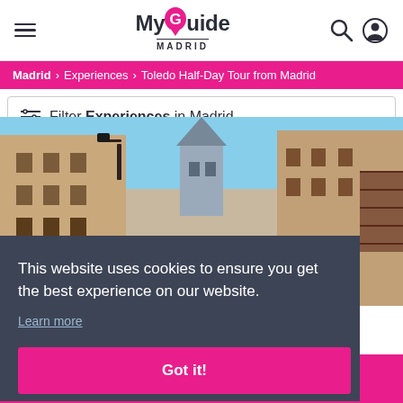MyGuide MADRID
Madrid > Experiences > Toledo Half-Day Tour from Madrid
Filter Experiences in Madrid
[Figure (photo): Street view of Madrid showing historic buildings, a church spire/tower in the background, lanterns, and a blue sky]
This website uses cookies to ensure you get the best experience on our website. Learn more
Got it!